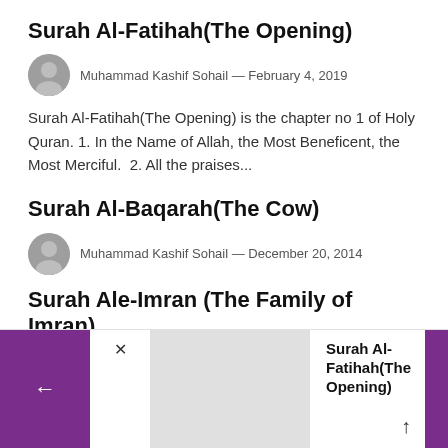Surah Al-Fatihah(The Opening)
Muhammad Kashif Sohail — February 4, 2019
Surah Al-Fatihah(The Opening) is the chapter no 1 of Holy Quran. 1. In the Name of Allah, the Most Beneficent, the Most Merciful.  2. All the praises...
Surah Al-Baqarah(The Cow)
Muhammad Kashif Sohail — December 20, 2014
Surah Ale-Imran (The Family of Imran)
[Figure (screenshot): Bottom navigation bar with purple back button, close button, image placeholder, and 'Surah Al-Fatihah(The Opening)' title with up arrow and purple right panel]